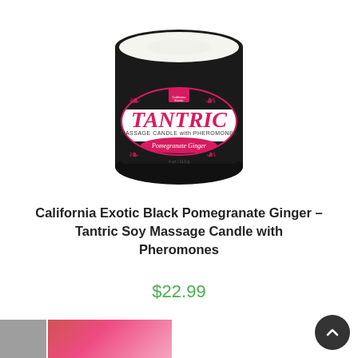[Figure (photo): A black tin candle jar viewed from above, showing white soy wax inside. The lid/label reads 'TANTRIC MASSAGE CANDLE with PHEROMONES - Pomegranate Ginger' with decorative pink and black filigree design and California Exotic Novelties logo.]
California Exotic Black Pomegranate Ginger – Tantric Soy Massage Candle with Pheromones
$22.99
[Figure (photo): Partial thumbnail strip showing gray and pink/red product images at the bottom of the page.]